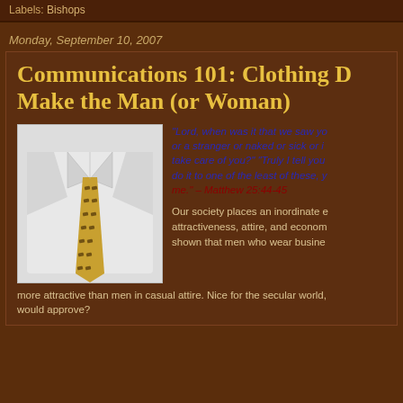Labels: Bishops
Monday, September 10, 2007
Communications 101: Clothing Does Make the Man (or Woman)
[Figure (photo): A folded white dress shirt with a gold patterned tie]
"Lord, when was it that we saw you hungry or thirsty or a stranger or naked or sick or in prison, and did not take care of you?" "Truly I tell you, just as you did not do it to one of the least of these, you did not do it to me." – Matthew 25:44-45
Our society places an inordinate emphasis on physical attractiveness, attire, and economic status. Studies have shown that men who wear business attire are perceived as more attractive than men in casual attire. Nice for the secular world, but would Jesus approve?